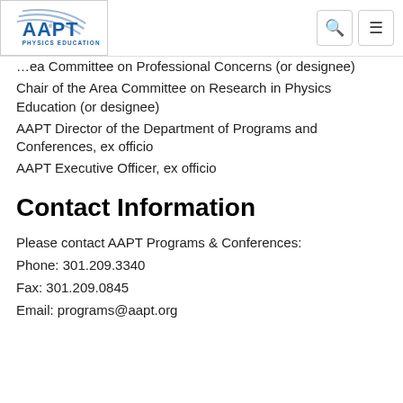AAPT Physics Education logo with search and menu icons
…ea Committee on Professional Concerns (or designee)
Chair of the Area Committee on Research in Physics Education (or designee)
AAPT Director of the Department of Programs and Conferences, ex officio
AAPT Executive Officer, ex officio
Contact Information
Please contact AAPT Programs & Conferences:
Phone: 301.209.3340
Fax: 301.209.0845
Email: programs@aapt.org